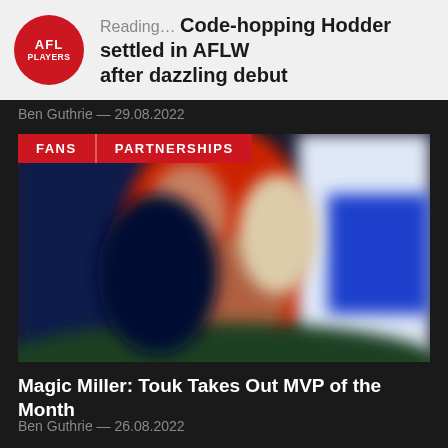Reading… Code-hopping Hodder settled in AFLW after dazzling debut
Ben Guthrie — 29.08.2022
[Figure (photo): Blurred sports photo showing an AFL player in a red jersey with FANS and PARTNERSHIPS category tags overlaid in the top-left corner]
Magic Miller: Touk Takes Out MVP of the Month
Ben Guthrie — 26.08.2022